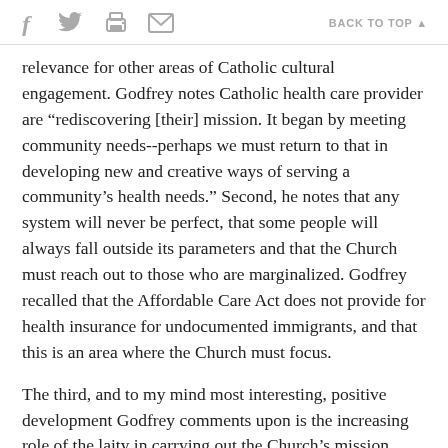f [twitter] [print] [mail]   BACK TO TOP ▲
relevance for other areas of Catholic cultural engagement. Godfrey notes Catholic health care provider are “rediscovering [their] mission. It began by meeting community needs--perhaps we must return to that in developing new and creative ways of serving a community’s health needs.” Second, he notes that any system will never be perfect, that some people will always fall outside its parameters and that the Church must reach out to those who are marginalized. Godfrey recalled that the Affordable Care Act does not provide for health insurance for undocumented immigrants, and that this is an area where the Church must focus.
The third, and to my mind most interesting, positive development Godfrey comments upon is the increasing role of the laity in carrying out the Church’s mission. “The